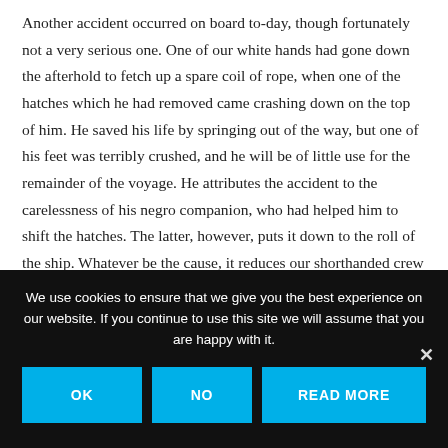Another accident occurred on board to-day, though fortunately not a very serious one. One of our white hands had gone down the afterhold to fetch up a spare coil of rope, when one of the hatches which he had removed came crashing down on the top of him. He saved his life by springing out of the way, but one of his feet was terribly crushed, and he will be of little use for the remainder of the voyage. He attributes the accident to the carelessness of his negro companion, who had helped him to shift the hatches. The latter, however, puts it down to the roll of the ship. Whatever be the cause, it reduces our shorthanded crew still further. This run of ill-luck seems to be depressing Harton, for he has lost his usual good spirits and joviality. Goring is the only one who preserves
We use cookies to ensure that we give you the best experience on our website. If you continue to use this site we will assume that you are happy with it.